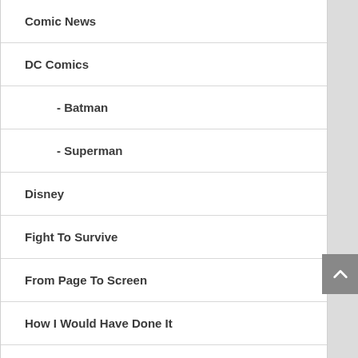Comic News
DC Comics
- Batman
- Superman
Disney
Fight To Survive
From Page To Screen
How I Would Have Done It
Kickstarter